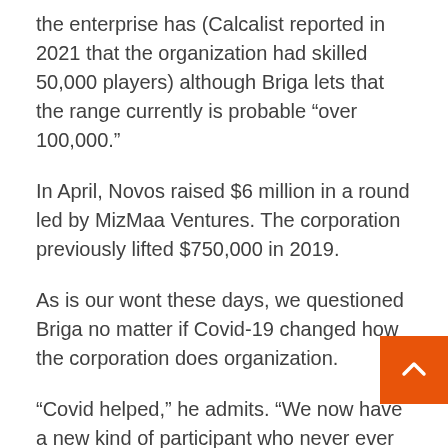the enterprise has (Calcalist reported in 2021 that the organization had skilled 50,000 players) although Briga lets that the range currently is probable “over 100,000.”
In April, Novos raised $6 million in a round led by MizMaa Ventures. The corporation previously lifted $750,000 in 2019.
As is our wont these days, we questioned Briga no matter if Covid-19 changed how the corporation does organization.
“Covid helped,” he admits. “We now have a new kind of participant who never ever played before. Probably they were soccer or basketball players, and they couldn’t observe their activity for the duration of the pandemic. All their buddies were being playing Fortnite.